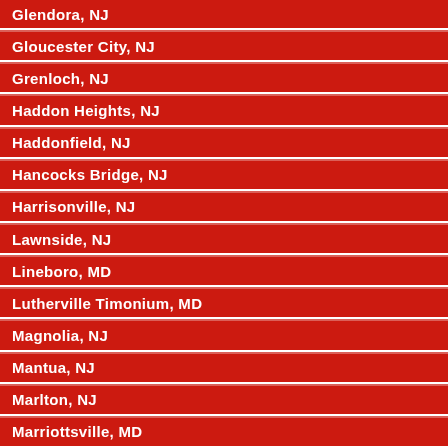Glendora, NJ
Gloucester City, NJ
Grenloch, NJ
Haddon Heights, NJ
Haddonfield, NJ
Hancocks Bridge, NJ
Harrisonville, NJ
Lawnside, NJ
Lineboro, MD
Lutherville Timonium, MD
Magnolia, NJ
Mantua, NJ
Marlton, NJ
Marriottsville, MD